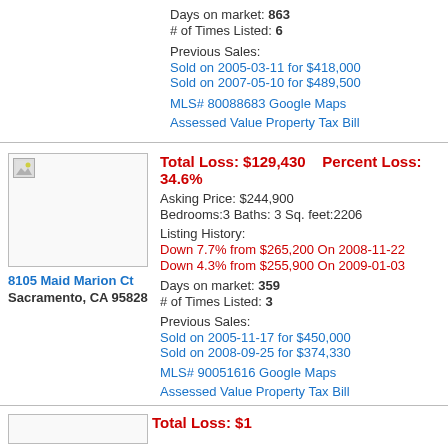Days on market: 863
# of Times Listed: 6

Previous Sales:
Sold on 2005-03-11 for $418,000
Sold on 2007-05-10 for $489,500

MLS# 80088683 Google Maps

Assessed Value Property Tax Bill
Total Loss: $129,430    Percent Loss: 34.6%
Asking Price: $244,900
Bedrooms:3 Baths: 3 Sq. feet:2206
Listing History:
Down 7.7% from $265,200 On 2008-11-22
Down 4.3% from $255,900 On 2009-01-03
Days on market: 359
# of Times Listed: 3
Previous Sales:
Sold on 2005-11-17 for $450,000
Sold on 2008-09-25 for $374,330
MLS# 90051616 Google Maps
Assessed Value Property Tax Bill
8105 Maid Marion Ct
Sacramento, CA 95828